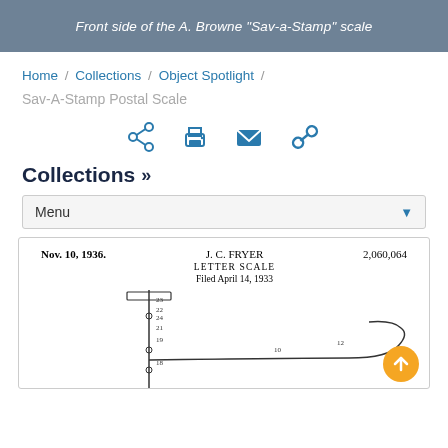Front side of the A. Browne "Sav-a-Stamp" scale
Home / Collections / Object Spotlight /
Sav-A-Stamp Postal Scale
[Figure (infographic): Row of four social icons: share, print, email, link]
Collections »
Menu
[Figure (engineering-diagram): Patent diagram for J. C. Fryer Letter Scale, patent 2,060,064, filed April 14, 1933, Nov. 10, 1936, showing a mechanical scale arm with numbered components.]